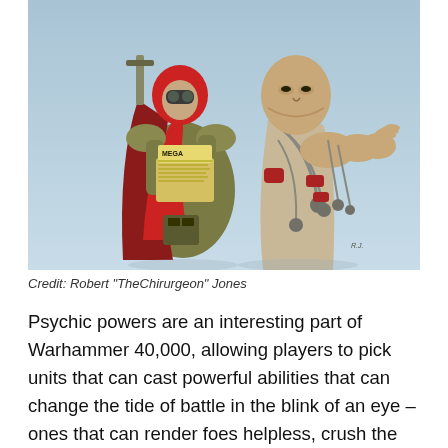[Figure (illustration): Comic-style illustration of two Warhammer 40,000 characters: a figure in red cloak and tactical gear holding a keyboard/checklist, and a larger robed figure bound in chains with hanging ornaments, against a light blue background.]
Credit: Robert "TheChirurgeon" Jones
Psychic powers are an interesting part of Warhammer 40,000, allowing players to pick units that can cast powerful abilities that can change the tide of battle in the blink of an eye – ones that can render foes helpless, crush the enemies will through mental onslaughts or hammer them with psychic blasts. Below are some of the psychic powers that can be found in Codexes for each of the factions. Unless, of course, that codex is either T'au or Necrons. In any case, put your Psychic Phase knowledge to the test and see if you can